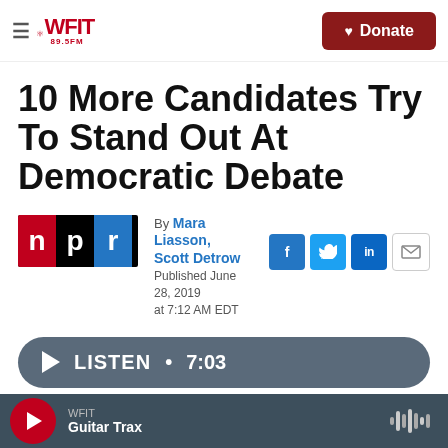WFIT 89.5FM | Donate
10 More Candidates Try To Stand Out At Democratic Debate
By Mara Liasson, Scott Detrow
Published June 28, 2019 at 7:12 AM EDT
[Figure (logo): NPR logo with red N block, black P block, blue R block]
LISTEN • 7:03
WFIT — Guitar Trax